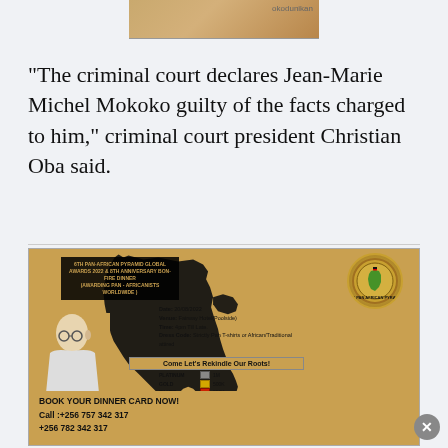[Figure (photo): Partial product image strip at top of page with brown/tan background]
“The criminal court declares Jean-Marie Michel Mokoko guilty of the facts charged to him,” criminal court president Christian Oba said.
[Figure (infographic): Pan-African Pyramid Global Awards 2022 & 8th Anniversary Bon-Fire Dinner event flyer. Features Africa silhouette in black on gold background. Date: 20/08/2022. Venue: Fairway Hotel(Poolside). Time: 4pm Till Late. Dress Code: Strictly Pan T-shirts or African/Traditional attired. Come Let’s Rekindle Our Roots! Ticket tiers: Platinum 1M, Gold 500K, Silver 250K, Bronze 100K. Book Your Dinner Card Now! Call: +256 757 342 317, +256 782 342 317]